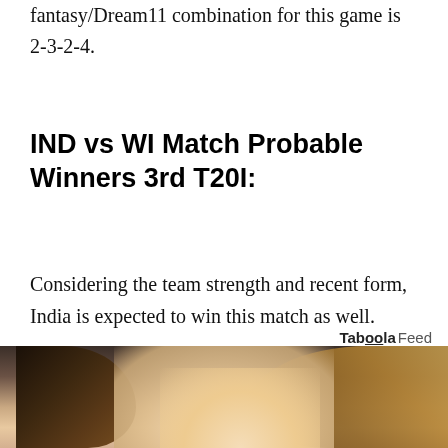fantasy/Dream11 combination for this game is 2-3-2-4.
IND vs WI Match Probable Winners 3rd T20I:
Considering the team strength and recent form, India is expected to win this match as well.
Taboola Feed
[Figure (photo): Partial photo of a blonde woman's face, cropped at the bottom of the page, part of a Taboola feed advertisement]